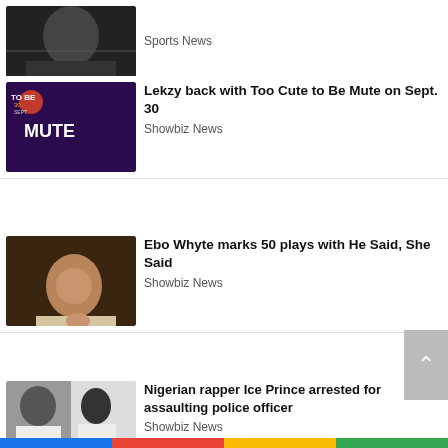[Figure (photo): Sports news thumbnail – dark boxing/sports scene]
Sports News
[Figure (photo): Lekzy Too Cute to Be Mute movie poster – colorful cast]
Lekzy back with Too Cute to Be Mute on Sept. 30
Showbiz News
[Figure (photo): Ebo Whyte – man resting chin on hand]
Ebo Whyte marks 50 plays with He Said, She Said
Showbiz News
[Figure (photo): Nigerian rapper Ice Prince – man in white near curtain]
Nigerian rapper Ice Prince arrested for assaulting police officer
Showbiz News
[Figure (photo): Prophet – man in suit]
Prophet accused of whipping worshippers detained
International News